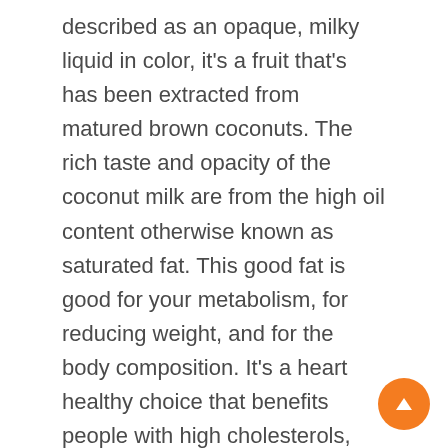described as an opaque, milky liquid in color, it's a fruit that's has been extracted from matured brown coconuts. The rich taste and opacity of the coconut milk are from the high oil content otherwise known as saturated fat. This good fat is good for your metabolism, for reducing weight, and for the body composition. It's a heart healthy choice that benefits people with high cholesterols, reduce inflammation, fights bacteria and viruses which also includes the ones found in the mouth, decrease stomach ulcer size, and is comparable to an effect to an anti-ulcer drug. Coconut allergies are rare, with so much benefits and almost no negatives surrounding this, who wouldn't want to try and incorporate it into their meals and dishes?